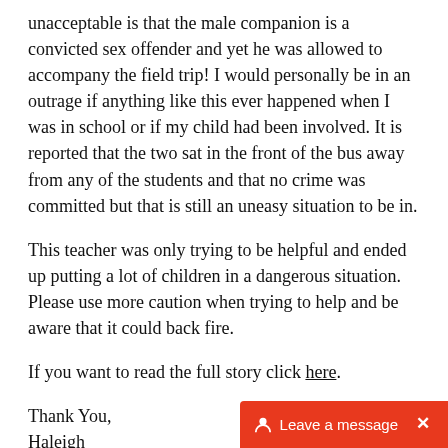unacceptable is that the male companion is a convicted sex offender and yet he was allowed to accompany the field trip! I would personally be in an outrage if anything like this ever happened when I was in school or if my child had been involved. It is reported that the two sat in the front of the bus away from any of the students and that no crime was committed but that is still an uneasy situation to be in.
This teacher was only trying to be helpful and ended up putting a lot of children in a dangerous situation. Please use more caution when trying to help and be aware that it could back fire.
If you want to read the full story click here.
Thank You,
Haleigh